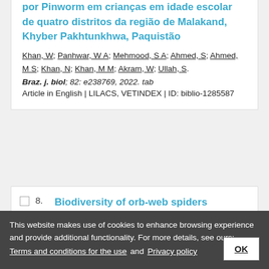por Pinworm em crianças em idade escolar de quatro distritos da região de Malakand, Khyber Pakhtunkhwa, Paquistão
Khan, W; Panhwar, W A; Mehmood, S A; Ahmed, S; Ahmed, M S; Khan, N; Khan, M M; Akram, W; Ullah, S.
Braz. j. biol; 82: e238769, 2022. tab
Article in English | LILACS, VETINDEX | ID: biblio-1285587
Biodiversity of orb-web spiders
This website makes use of cookies to enhance browsing experience and provide additional functionality. For more details, see ours: Terms and conditions for the use and Privacy policy